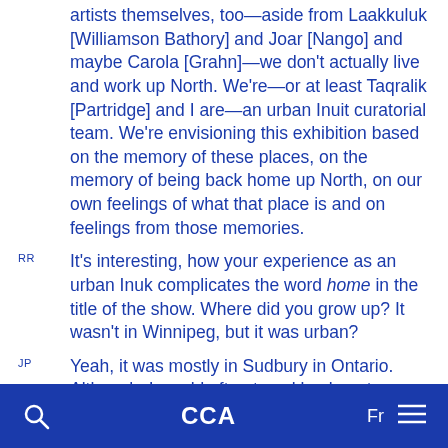artists themselves, too—aside from Laakkuluk [Williamson Bathory] and Joar [Nango] and maybe Carola [Grahn]—we don't actually live and work up North. We're—or at least Taqralik [Partridge] and I are—an urban Inuit curatorial team. We're envisioning this exhibition based on the memory of these places, on the memory of being back home up North, on our own feelings of what that place is and on feelings from those memories.
RR: It's interesting, how your experience as an urban Inuk complicates the word home in the title of the show. Where did you grow up? It wasn't in Winnipeg, but it was urban?
JP: Yeah, it was mostly in Sudbury in Ontario. Although, I would often travel back up to Cambridge Bay—Iqaluktuuttiaq—in Nunavut when I was much younger. I was 10 years old when my family finally settled in Sudbury.
CCA  Fr  ☰